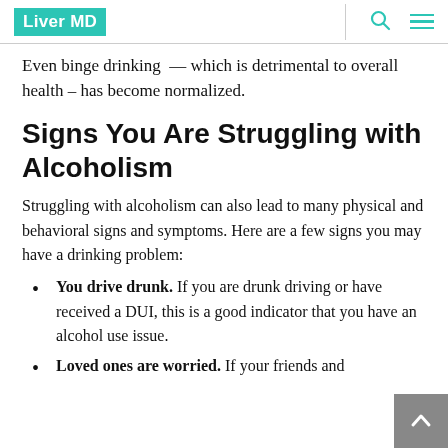Liver MD
Even binge drinking — which is detrimental to overall health – has become normalized.
Signs You Are Struggling with Alcoholism
Struggling with alcoholism can also lead to many physical and behavioral signs and symptoms. Here are a few signs you may have a drinking problem:
You drive drunk. If you are drunk driving or have received a DUI, this is a good indicator that you have an alcohol use issue.
Loved ones are worried. If your friends and